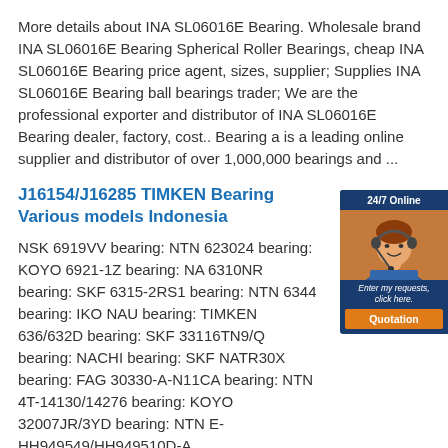More details about INA SL06016E Bearing. Wholesale brand INA SL06016E Bearing Spherical Roller Bearings, cheap INA SL06016E Bearing price agent, sizes, supplier; Supplies INA SL06016E Bearing ball bearings trader; We are the professional exporter and distributor of INA SL06016E Bearing dealer, factory, cost.. Bearing a is a leading online supplier and distributor of over 1,000,000 bearings and ...
J16154/J16285 TIMKEN Bearing Various models Indonesia
NSK 6919VV bearing: NTN 623024 bearing: KOYO 6921-1Z bearing: NA 6310NR bearing: SKF 6315-2RS1 bearing: NTN 6344 bearing: IKO NAU bearing: TIMKEN 636/632D bearing: SKF 33116TN9/Q bearing: NACHI bearing: SKF NATR30X bearing: FAG 30330-A-N11CA bearing: NTN 4T-14130/14276 bearing: KOYO 32007JR/3YD bearing: NTN E-HH949549/HH949510D-A ...
SL06018E bearing -INA
HMZ22 FAG SL05048E INA SL06016E INA HMZ23 FAG SL06018E INA HM30/1120 FAG HM31/1120 FAG HM30/1180 FAG SL06020E INA ; We cooperate with UPS,TNT,FEDEX,EMS,DHL,etc.They guarantee to meet your needs in terms of time and money,even if you need your SL06018E bearing tomorrow morning (aka overnight or next day air) on your desk, 2 or more.Note ...
[Figure (other): Live chat widget with a customer service representative photo, '24/7 Online' header, and 'Quotation' button]